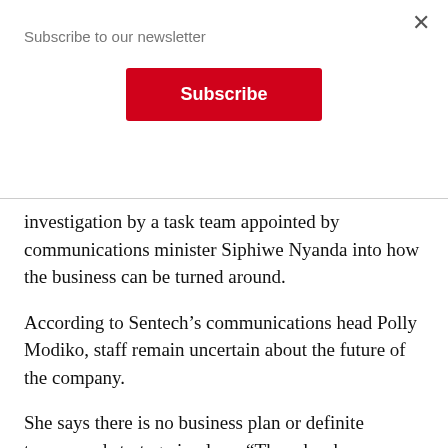Subscribe to our newsletter
Subscribe
investigation by a task team appointed by communications minister Siphiwe Nyanda into how the business can be turned around.
According to Sentech’s communications head Polly Modiko, staff remain uncertain about the future of the company.
She says there is no business plan or definite turnaround strategy in place. “There has been no full-time CEO appointed and everything is still uncertain here.”